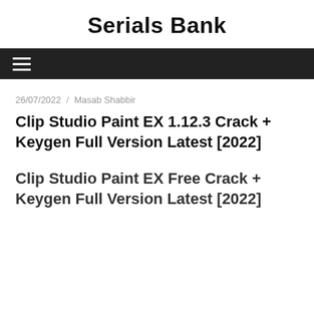Serials Bank
≡ (navigation menu bar)
26/07/2022 / Masab Shabbir
Clip Studio Paint EX 1.12.3 Crack + Keygen Full Version Latest [2022]
Clip Studio Paint EX Free Crack + Keygen Full Version Latest [2022]